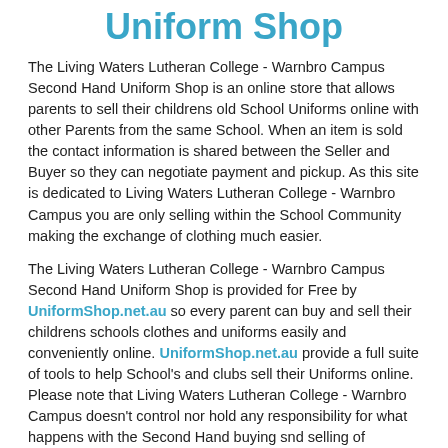Uniform Shop
The Living Waters Lutheran College - Warnbro Campus Second Hand Uniform Shop is an online store that allows parents to sell their childrens old School Uniforms online with other Parents from the same School. When an item is sold the contact information is shared between the Seller and Buyer so they can negotiate payment and pickup. As this site is dedicated to Living Waters Lutheran College - Warnbro Campus you are only selling within the School Community making the exchange of clothing much easier.
The Living Waters Lutheran College - Warnbro Campus Second Hand Uniform Shop is provided for Free by UniformShop.net.au so every parent can buy and sell their childrens schools clothes and uniforms easily and conveniently online. UniformShop.net.au provide a full suite of tools to help School's and clubs sell their Uniforms online. Please note that Living Waters Lutheran College - Warnbro Campus doesn't control nor hold any responsibility for what happens with the Second Hand buying snd selling of uniforms and clothing from this site. This site is provided Free of charge for the benefit of all by Web Store Pty Ltd.